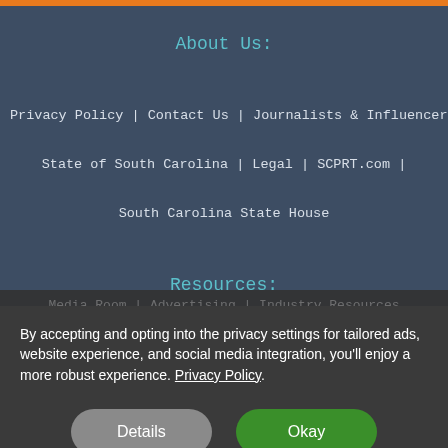About Us:
Privacy Policy | Contact Us | Journalists & Influencers |
State of South Carolina | Legal | SCPRT.com |
South Carolina State House
Resources:
Media Room | Advertising | Industry Resources
By accepting and opting into the privacy settings for tailored ads, website experience, and social media integration, you'll enjoy a more robust experience. Privacy Policy
Details
Okay